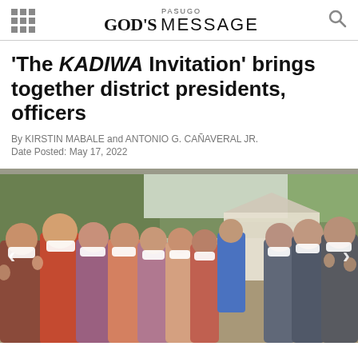PASUGO GOD'S MESSAGE
'The KADIWA Invitation' brings together district presidents, officers
By KIRSTIN MABALE and ANTONIO G. CAÑAVERAL JR.
Date Posted: May 17, 2022
[Figure (photo): Group photo of people wearing white face masks, gathered outdoors near a gazebo structure. They are waving at the camera. The setting appears to be a garden or outdoor venue.]